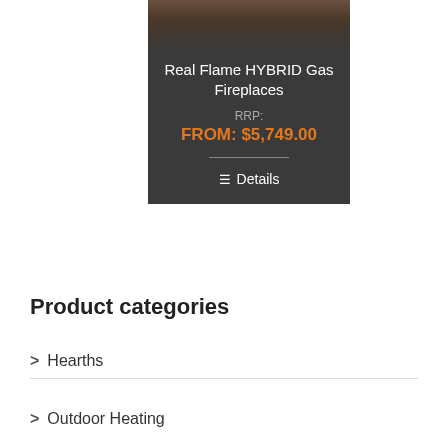[Figure (photo): Product card with dark background showing a fireplace product. Top portion has a photo of a fireplace/mantel. Card contains product title, RRP label, price, divider line, and Details button.]
Real Flame HYBRID Gas Fireplaces
RRP:
FROM: $5,749.00
Details
Product categories
> Hearths
> Outdoor Heating